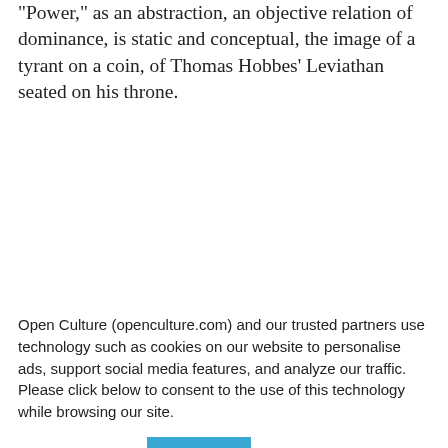“Power,” as an abstraction, an objective relation of dominance, is static and conceptual, the image of a tyrant on a coin, of Thomas Hobbes’ Leviathan seated on his throne.
[Figure (screenshot): Search widget with 'Search For' header and two rows: 1. Listen To Audiobooks Free, 2. Die Besten Banken]
Open Culture (openculture.com) and our trusted partners use technology such as cookies on our website to personalise ads, support social media features, and analyze our traffic. Please click below to consent to the use of this technology while browsing our site.
Cookie settings  ACCEPT